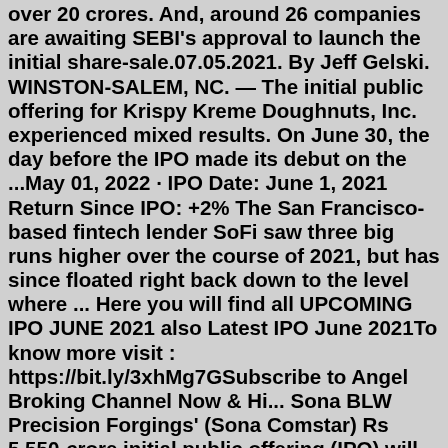over 20 crores. And, around 26 companies are awaiting SEBI's approval to launch the initial share-sale.07.05.2021. By Jeff Gelski. WINSTON-SALEM, NC. — The initial public offering for Krispy Kreme Doughnuts, Inc. experienced mixed results. On June 30, the day before the IPO made its debut on the ...May 01, 2022 · IPO Date: June 1, 2021 Return Since IPO: +2% The San Francisco-based fintech lender SoFi saw three big runs higher over the course of 2021, but has since floated right back down to the level where ... Here you will find all UPCOMING IPO JUNE 2021 also Latest IPO June 2021To know more visit : https://bit.ly/3xhMg7GSubscribe to Angel Broking Channel Now & Hi... Sona BLW Precision Forgings' (Sona Comstar) Rs 5,550-crore initial public offering (IPO) will open for subscription on June 14, 2021, at a price band of Rs 285-291 per share.But as benchmark indices recovered from the shock of second wave and hit all-time highs in June, the primary market is buzzing once again. At least 20 companies have filed papers with SEBI to launch